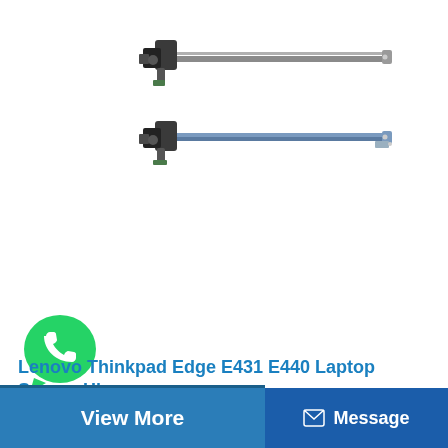[Figure (photo): Two laptop screen hinges for Lenovo Thinkpad Edge E431 E440, shown on white background — a left hinge (top) and a right hinge (bottom), both metal arms with mounting brackets.]
[Figure (logo): WhatsApp logo: green circle with white telephone handset icon and speech bubble tail.]
Lenovo Thinkpad Edge E431 E440 Laptop Screen Hinges
View More
Message